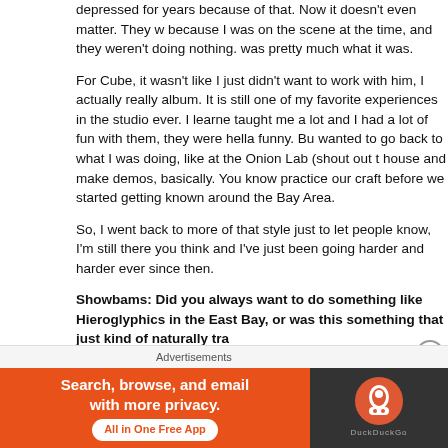depressed for years because of that. Now it doesn't even matter. They w because I was on the scene at the time, and they weren't doing nothing. was pretty much what it was.
For Cube, it wasn't like I just didn't want to work with him, I actually really album. It is still one of my favorite experiences in the studio ever. I learne taught me a lot and I had a lot of fun with them, they were hella funny. Bu wanted to go back to what I was doing, like at the Onion Lab (shout out t house and make demos, basically. You know practice our craft before we started getting known around the Bay Area.
So, I went back to more of that style just to let people know, I'm still there you think and I've just been going harder and harder ever since then.
Showbams: Did you always want to do something like Hieroglyphics in the East Bay, or was this something that just kind of naturally tra
Del: You know what? It wasn't really something that I made, that was som happened. There was only so many people that were just about "really ra anyways, it wasn't like there was hella' us you know? But really who
Advertisements
[Figure (infographic): DuckDuckGo advertisement banner: orange left panel with text 'Search, browse, and email with more privacy. All in One Free App', dark right panel with DuckDuckGo logo]